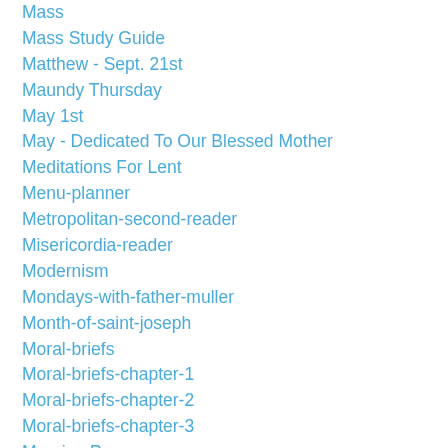Mass
Mass Study Guide
Matthew - Sept. 21st
Maundy Thursday
May 1st
May - Dedicated To Our Blessed Mother
Meditations For Lent
Menu-planner
Metropolitan-second-reader
Misericordia-reader
Modernism
Mondays-with-father-muller
Month-of-saint-joseph
Moral-briefs
Moral-briefs-chapter-1
Moral-briefs-chapter-2
Moral-briefs-chapter-3
Morning Prayers
Mothers Day 20132303cd0d22
Motion-pictures
My Catholic Faith